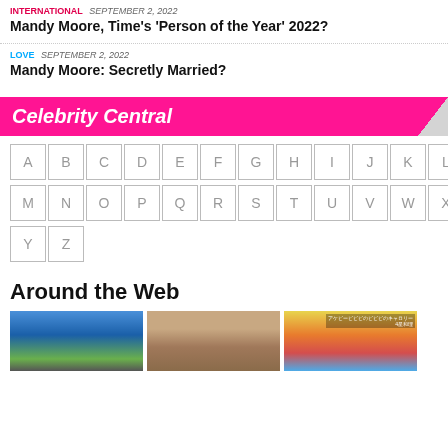INTERNATIONAL  SEPTEMBER 2, 2022
Mandy Moore, Time's 'Person of the Year' 2022?
LOVE  SEPTEMBER 2, 2022
Mandy Moore: Secretly Married?
Celebrity Central
[Figure (other): Alphabetical navigation grid A-Z in bordered cells]
Around the Web
[Figure (photo): Three thumbnail images: ocean waves/road, close-up of two faces, Japanese TV show still]